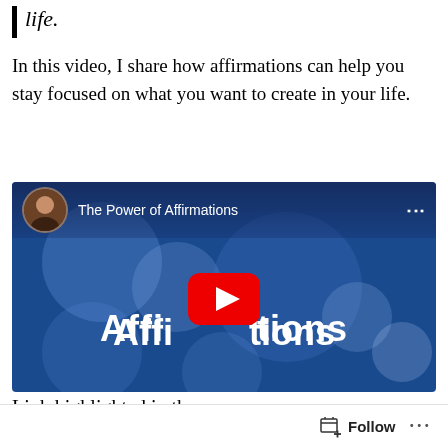life.
In this video, I share how affirmations can help you stay focused on what you want to create in your life.
[Figure (screenshot): YouTube video thumbnail showing 'The Power of Affirmations' with a woman's avatar, bokeh blue background, text reading 'Affirmations', and a YouTube play button in the center.]
Link highlighted in the
Follow ...